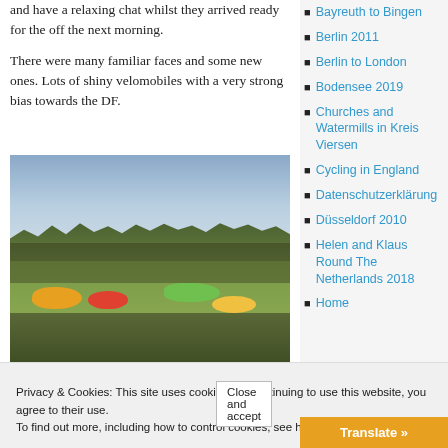and have a relaxing chat whilst they arrived ready for the off the next morning.
There were many familiar faces and some new ones. Lots of shiny velomobiles with a very strong bias towards the DF.
[Figure (photo): Outdoor scene with velomobiles and people gathered on a grassy field with trees and cloudy sky in the background]
Bayreuth to Bingen
Berlin 2011
Berlin to London
Bodensee 2019
Churches and Watermills in Kreis Viersen
Cycling in England
Datenschutzerklärung
Düsseldorf 2010
Helen and Klaus Round The Netherlands 2018
Home
Privacy & Cookies: This site uses cookies. By continuing to use this website, you agree to their use.
To find out more, including how to control cookies, see here: Cookie Policy
Close and accept
Translate »